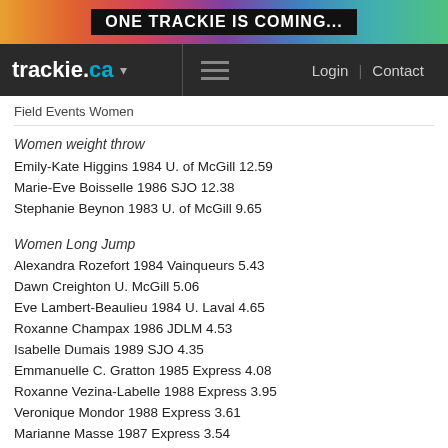[Figure (screenshot): Colourful gradient banner with text ONE TRACKIE IS COMING...]
trackie.ca  Login | Contact
Field Events Women
Women weight throw
Emily-Kate Higgins 1984 U. of McGill 12.59
Marie-Eve Boisselle 1986 SJO 12.38
Stephanie Beynon 1983 U. of McGill 9.65
Women Long Jump
Alexandra Rozefort 1984 Vainqueurs 5.43
Dawn Creighton U. McGill 5.06
Eve Lambert-Beaulieu 1984 U. Laval 4.65
Roxanne Champax 1986 JDLM 4.53
Isabelle Dumais 1989 SJO 4.35
Emmanuelle C. Gratton 1985 Express 4.08
Roxanne Vezina-Labelle 1988 Express 3.95
Veronique Mondor 1988 Express 3.61
Marianne Masse 1987 Express 3.54
Pascale Delisle 1987 U. Laval 3.40
Fanny Bergeron Archam. 1989 College de Montreal 3.35
Women Shot Put
Andrea Chynoweth 1984 U. McGill 9.16